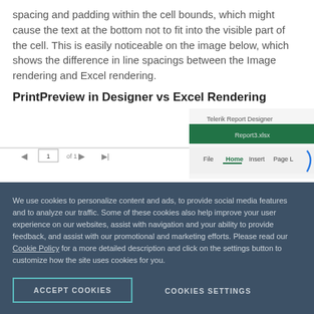spacing and padding within the cell bounds, which might cause the text at the bottom not to fit into the visible part of the cell. This is easily noticeable on the image below, which shows the difference in line spacings between the Image rendering and Excel rendering.
PrintPreview in Designer vs Excel Rendering
[Figure (screenshot): Screenshot showing Telerik Report Designer on the left and Excel spreadsheet with Report3.xlsx on the right. Menu bar visible showing File, Home, Insert, Page Layout tabs.]
We use cookies to personalize content and ads, to provide social media features and to analyze our traffic. Some of these cookies also help improve your user experience on our websites, assist with navigation and your ability to provide feedback, and assist with our promotional and marketing efforts. Please read our Cookie Policy for a more detailed description and click on the settings button to customize how the site uses cookies for you.
ACCEPT COOKIES
COOKIES SETTINGS